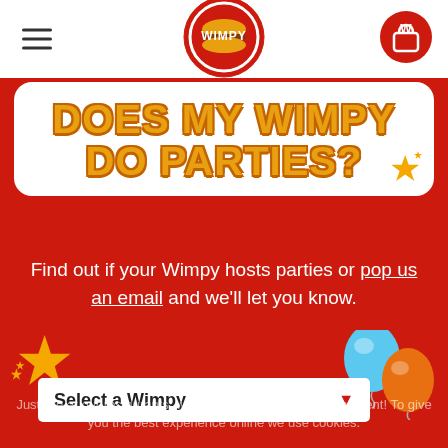[Figure (logo): Wimpy burger restaurant logo — red circle with white 'WIMPY' text and burger graphic]
DOES MY WIMPY DO PARTIES?
Find out if your Wimpy hosts parties or pop us an email and we'll let you know.
[Figure (illustration): Decorative gold stars scattered on red background, blue and orange balloons]
Select a Wimpy
Just like at our restaurants, we want you to enjoy every moment! To give you the best experience online we use cookies.